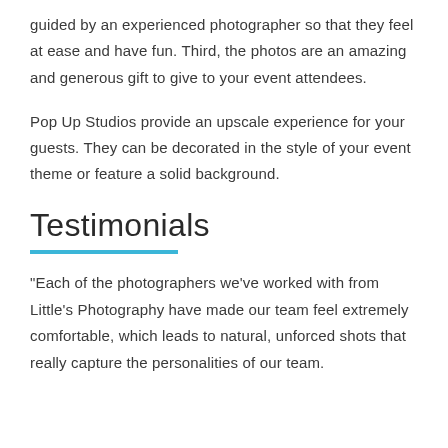guided by an experienced photographer so that they feel at ease and have fun. Third, the photos are an amazing and generous gift to give to your event attendees.
Pop Up Studios provide an upscale experience for your guests. They can be decorated in the style of your event theme or feature a solid background.
Testimonials
"Each of the photographers we've worked with from Little's Photography have made our team feel extremely comfortable, which leads to natural, unforced shots that really capture the personalities of our team.